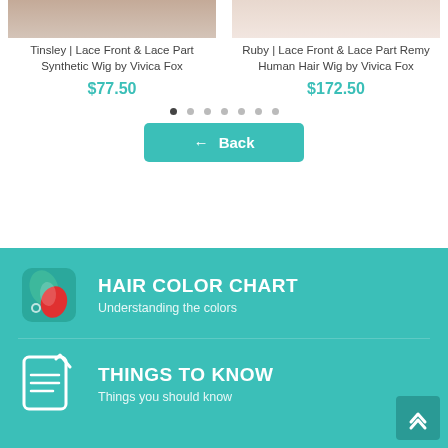[Figure (photo): Product photo of model wearing Tinsley Lace Front wig (cropped, top portion visible)]
Tinsley | Lace Front & Lace Part Synthetic Wig by Vivica Fox
$77.50
[Figure (photo): Product photo of model wearing Ruby Lace Front wig (cropped, top portion visible)]
Ruby | Lace Front & Lace Part Remy Human Hair Wig by Vivica Fox
$172.50
[Figure (other): Carousel navigation dots, 7 dots with first one active]
← Back
[Figure (illustration): Hair color chart icon - colorful layered paint swatches in green and red tones]
HAIR COLOR CHART
Understanding the colors
[Figure (illustration): Things to know icon - document with checkmark]
THINGS TO KNOW
Things you should know